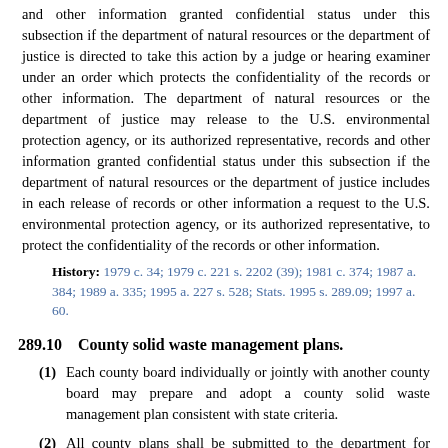and other information granted confidential status under this subsection if the department of natural resources or the department of justice is directed to take this action by a judge or hearing examiner under an order which protects the confidentiality of the records or other information. The department of natural resources or the department of justice may release to the U.S. environmental protection agency, or its authorized representative, records and other information granted confidential status under this subsection if the department of natural resources or the department of justice includes in each release of records or other information a request to the U.S. environmental protection agency, or its authorized representative, to protect the confidentiality of the records or other information.
History: 1979 c. 34; 1979 c. 221 s. 2202 (39); 1981 c. 374; 1987 a. 384; 1989 a. 335; 1995 a. 227 s. 528; Stats. 1995 s. 289.09; 1997 a. 60.
289.10   County solid waste management plans.
(1) Each county board individually or jointly with another county board may prepare and adopt a county solid waste management plan consistent with state criteria.
(2) All county plans shall be submitted to the department for review. Within 90 days after submittal, the department shall approve or disapprove the plans. During its review, the department shall consult with the appropriate regional